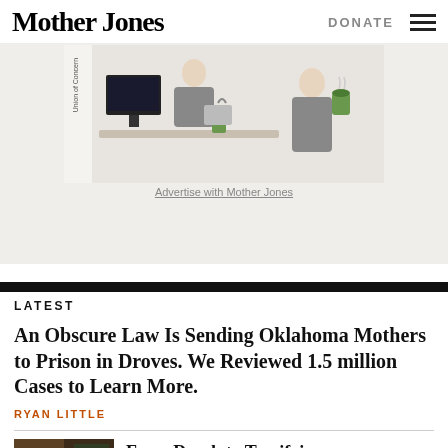Mother Jones | DONATE
[Figure (illustration): Illustration/advertisement showing two figures at a table, with 'Union of Concern' text visible on the left side. Colorful sketch-style artwork.]
Advertise with Mother Jones
LATEST
An Obscure Law Is Sending Oklahoma Mothers to Prison in Droves. We Reviewed 1.5 million Cases to Learn More.
RYAN LITTLE
[Figure (photo): Thumbnail photo, dark colorful image, partially visible]
From Dumb to Terrifying